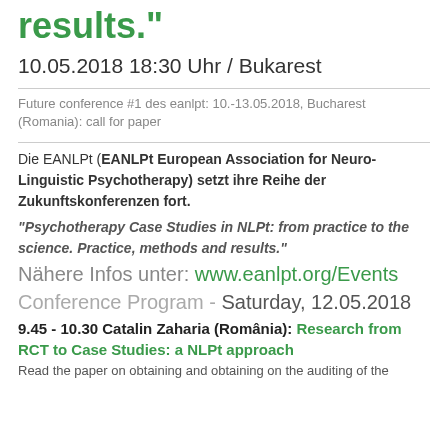results."
10.05.2018 18:30 Uhr / Bukarest
Future conference #1 des eanlpt: 10.-13.05.2018, Bucharest (Romania): call for paper
Die EANLPt (EANLPt European Association for Neuro-Linguistic Psychotherapy) setzt ihre Reihe der Zukunftskonferenzen fort.
"Psychotherapy Case Studies in NLPt: from practice to the science. Practice, methods and results."
Nähere Infos unter: www.eanlpt.org/Events
Conference Program - Saturday, 12.05.2018
9.45 - 10.30 Catalin Zaharia (România): Research from RCT to Case Studies: a NLPt approach
Read the paper on obtaining and obtaining on the auditing of the